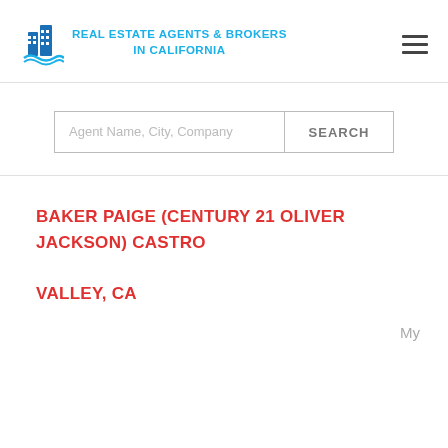REAL ESTATE AGENTS & BROKERS IN CALIFORNIA
Agent Name, City, Company  SEARCH
BAKER PAIGE (CENTURY 21 OLIVER JACKSON) CASTRO VALLEY, CA
My